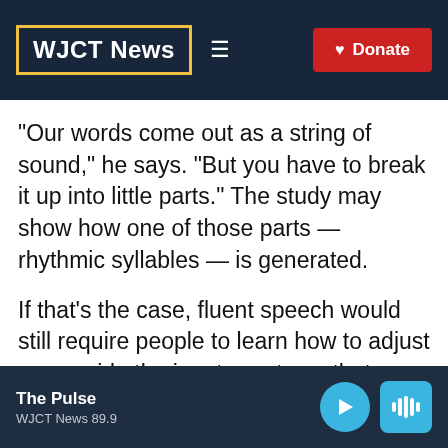WJCT News
"Our words come out as a string of sound," he says. "But you have to break it up into little parts." The study may show how one of those parts — rhythmic syllables — is generated.
If that's the case, fluent speech would still require people to learn how to adjust or override the innate systems that control both breathing and the production of sounds,
The Pulse
WJCT News 89.9